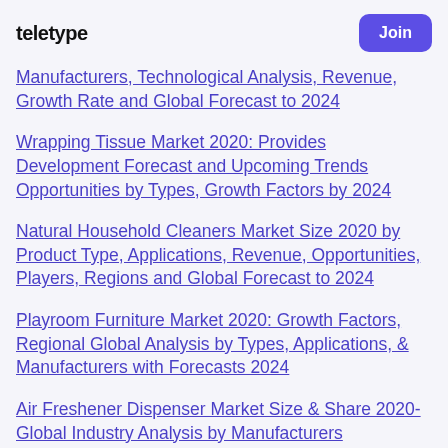teletype | Join
Manufacturers, Technological Analysis, Revenue, Growth Rate and Global Forecast to 2024
Wrapping Tissue Market 2020: Provides Development Forecast and Upcoming Trends Opportunities by Types, Growth Factors by 2024
Natural Household Cleaners Market Size 2020 by Product Type, Applications, Revenue, Opportunities, Players, Regions and Global Forecast to 2024
Playroom Furniture Market 2020: Growth Factors, Regional Global Analysis by Types, Applications, & Manufacturers with Forecasts 2024
Air Freshener Dispenser Market Size & Share 2020-Global Industry Analysis by Manufacturers